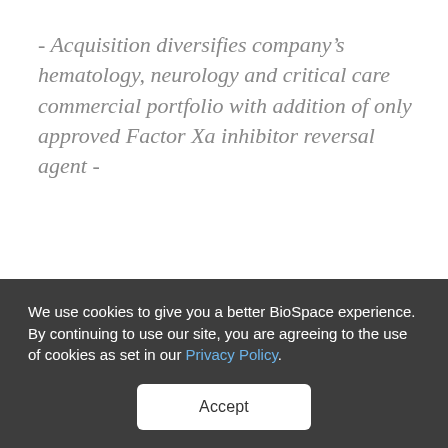- Acquisition diversifies company's hematology, neurology and critical care commercial portfolio with addition of only approved Factor Xa inhibitor reversal agent -
BOSTON--(BUSINESS WIRE)-- Alexion Pharmaceuticals Inc. (NASDAQ:ALXN) today announced the successful completion of its
We use cookies to give you a better BioSpace experience. By continuing to use our site, you are agreeing to the use of cookies as set in our Privacy Policy.